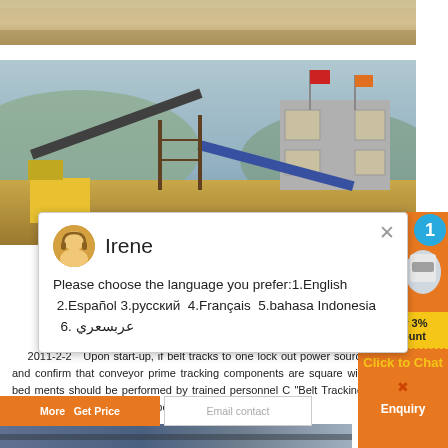[Figure (photo): Top portion of sand/gravel quarry site, brown sandy landscape]
[Figure (photo): Industrial plant/facility with conveyor belts, machinery, and a building with flags in the background]
[Figure (screenshot): Chat popup overlay showing avatar of 'Irene' with language selection message: Please choose the language you prefer: 1.English 2.Español 3.русский 4.Français 5.bahasa Indonesia 6. عربسعري]
2011-2-2   Upon start-up, if belt tracks to one lock out power source and confirm that conveyor prime tracking components are square with bed ments should be performed by trained personnel C "Belt Tracking" completely before attempting belt tr
[Figure (photo): Right sidebar with orange background showing crushing/grinding machinery images, a blue badge with number 1, discount bar showing 'Enjoy 3% discount', 'Click to Chat' button, and 'Enquiry' button]
[Figure (photo): Bottom image of industrial conveyor/mobile plant equipment]